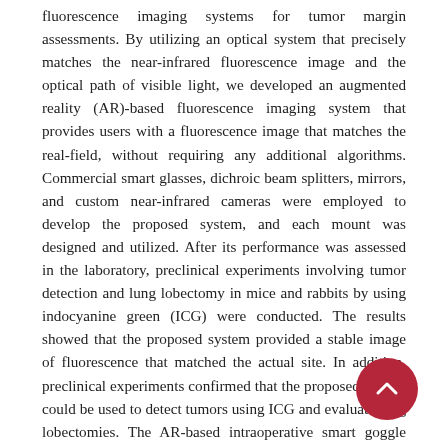fluorescence imaging systems for tumor margin assessments. By utilizing an optical system that precisely matches the near-infrared fluorescence image and the optical path of visible light, we developed an augmented reality (AR)-based fluorescence imaging system that provides users with a fluorescence image that matches the real-field, without requiring any additional algorithms. Commercial smart glasses, dichroic beam splitters, mirrors, and custom near-infrared cameras were employed to develop the proposed system, and each mount was designed and utilized. After its performance was assessed in the laboratory, preclinical experiments involving tumor detection and lung lobectomy in mice and rabbits by using indocyanine green (ICG) were conducted. The results showed that the proposed system provided a stable image of fluorescence that matched the actual site. In addition, preclinical experiments confirmed that the proposed system could be used to detect tumors using ICG and evaluate lung lobectomies. The AR-based intraoperative smart goggle system could detect fluorescence images for tumor margin assessments in animal models, without disrupting the surgical workflow in an operating room. Additionally, it was confirmed that, even when the system itself was distorted when worn, the fluorescence image consistently matched the actual